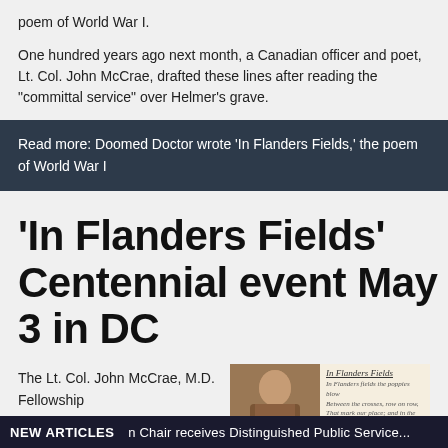poem of World War I.
One hundred years ago next month, a Canadian officer and poet, Lt. Col. John McCrae, drafted these lines after reading the "committal service" over Helmer's grave.
Read more: Doomed Doctor wrote 'In Flanders Fields,' the poem of World War I
'In Flanders Fields' Centennial event May 3 in DC
The Lt. Col. John McCrae, M.D. Fellowship
[Figure (photo): Sepia-tone portrait photo of Lt. Col. John McCrae alongside a handwritten manuscript of 'In Flanders Fields']
NEW ARTICLES  n Chair receives Distinguished Public Service...